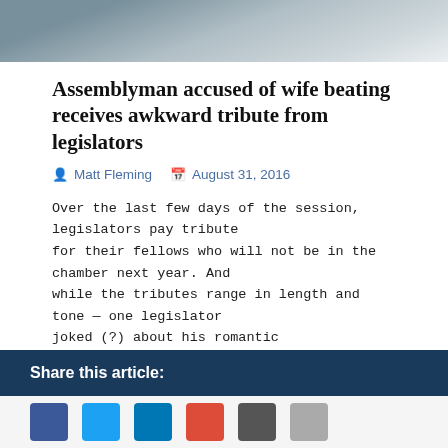[Figure (photo): Partial photo of a person in a suit, cropped at the top of the page]
Assemblyman accused of wife beating receives awkward tribute from legislators
Matt Fleming  August 31, 2016
Over the last few days of the session, legislators pay tribute for their fellows who will not be in the chamber next year. And while the tributes range in length and tone — one legislator joked (?) about his romantic
READ MORE
1  2  3  ...  6  ▶
Share this article: